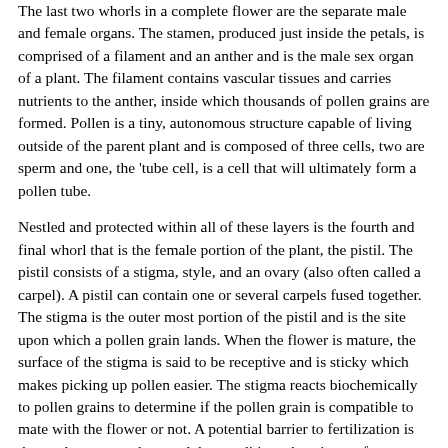The last two whorls in a complete flower are the separate male and female organs. The stamen, produced just inside the petals, is comprised of a filament and an anther and is the male sex organ of a plant. The filament contains vascular tissues and carries nutrients to the anther, inside which thousands of pollen grains are formed. Pollen is a tiny, autonomous structure capable of living outside of the parent plant and is composed of three cells, two are sperm and one, the 'tube cell, is a cell that will ultimately form a pollen tube.
Nestled and protected within all of these layers is the fourth and final whorl that is the female portion of the plant, the pistil. The pistil consists of a stigma, style, and an ovary (also often called a carpel). A pistil can contain one or several carpels fused together. The stigma is the outer most portion of the pistil and is the site upon which a pollen grain lands. When the flower is mature, the surface of the stigma is said to be receptive and is sticky which makes picking up pollen easier. The stigma reacts biochemically to pollen grains to determine if the pollen grain is compatible to mate with the flower or not. A potential barrier to fertilization is that under extreme heat and dry conditions the stigma of a mature flower may dry up making pollen recognition impossible. The style is specialized tissue that connects the stigma and ovary through which pollen tubes will grow. It is also thought to help the stigma determine pollen grain compatibility.